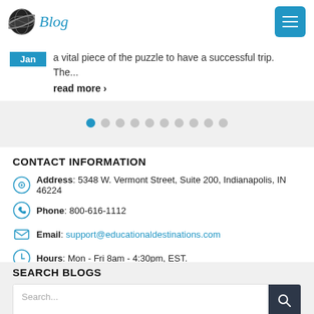Blog
Jan — a vital piece of the puzzle to have a successful trip. The... read more ›
[Figure (other): Pagination dots — 10 dots, first one active (blue), rest grey]
CONTACT INFORMATION
Address: 5348 W. Vermont Street, Suite 200, Indianapolis, IN 46224
Phone: 800-616-1112
Email: support@educationaldestinations.com
Hours: Mon - Fri 8am - 4:30pm, EST.
SEARCH BLOGS
Search...